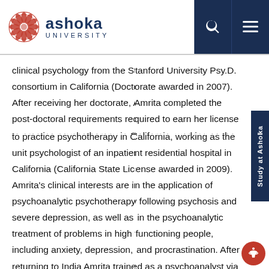[Figure (logo): Ashoka University logo with circular red geometric emblem and text 'ashoka UNIVERSITY' in dark navy]
clinical psychology from the Stanford University Psy.D. consortium in California (Doctorate awarded in 2007).  After receiving her doctorate, Amrita completed the post-doctoral requirements required to earn her license to practice psychotherapy in California, working as the unit psychologist of an inpatient residential hospital in  California (California State License awarded in 2009). Amrita's clinical interests are in the application of psychoanalytic psychotherapy following psychosis and severe depression, as well as in the psychoanalytic treatment of problems in high functioning people, including anxiety, depression, and procrastination. After returning to India Amrita trained as a psychoanalyst via the Indian Psychoanalytical Society, and was accepted as a member of the International